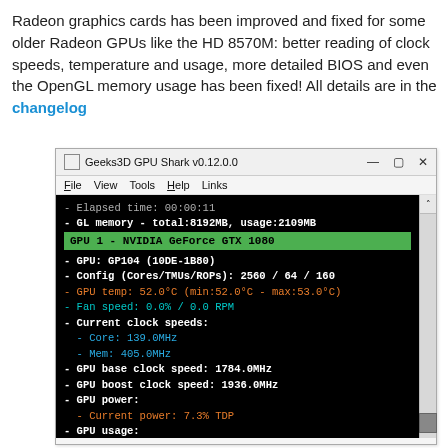Radeon graphics cards has been improved and fixed for some older Radeon GPUs like the HD 8570M: better reading of clock speeds, temperature and usage, more detailed BIOS and even the OpenGL memory usage has been fixed! All details are in the changelog
[Figure (screenshot): GPU Shark v0.12.0.0 application window showing GPU monitoring data for NVIDIA GeForce GTX 1080. Displays elapsed time 00:00:11, GL memory total 8192MB usage 2109MB, GPU model GP104 (10DE-1B80), config 2560/64/160 cores/TMUs/ROPs, GPU temp 52.0°C (min:52.0°C - max:53.0°C), Fan speed 0.0%/0.0 RPM, Current clock speeds Core 139.0MHz Mem 405.0MHz, GPU base clock 1784.0MHz, GPU boost clock 1936.0MHz, GPU power current 7.3% TDP, GPU usage GPU 1.0% max 16.0%]